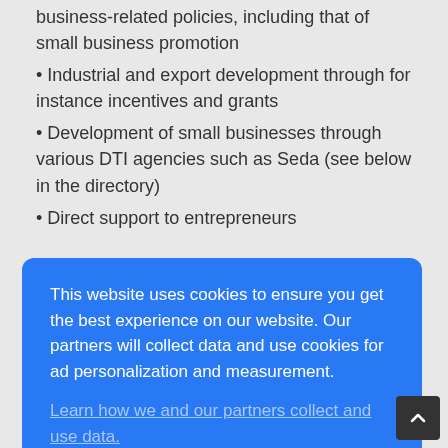business-related policies, including that of small business promotion
Industrial and export development through for instance incentives and grants
Development of small businesses through various DTI agencies such as Seda (see below in the directory)
Direct support to entrepreneurs
This website uses cookies to ensure you get the best experience on our website. Our partners will collect data and use cookies for ad personalization and measurement. Learn how we and our partners collect and use data.
OK
•